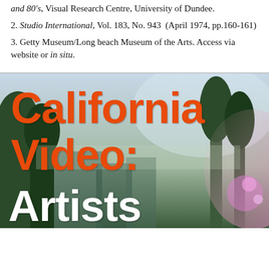and 80's, Visual Research Centre, University of Dundee.
2. Studio International, Vol. 183, No. 943  (April 1974, pp.160-161)
3. Getty Museum/Long beach Museum of the Arts. Access via website or in situ.
[Figure (photo): Book or exhibition cover image for 'California Video: Artists' with large bold orange text overlaid on a photographic background showing trees and a hazy urban/suburban landscape with pink light effects on the right side.]